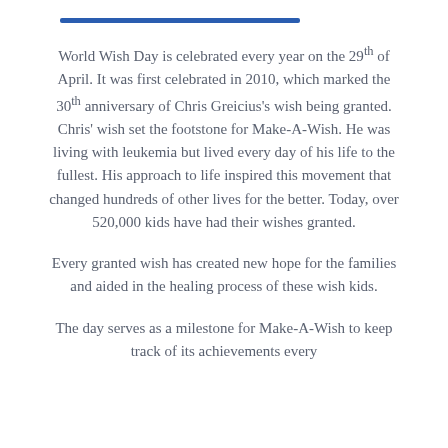World Wish Day is celebrated every year on the 29th of April. It was first celebrated in 2010, which marked the 30th anniversary of Chris Greicius's wish being granted. Chris' wish set the footstone for Make-A-Wish. He was living with leukemia but lived every day of his life to the fullest. His approach to life inspired this movement that changed hundreds of other lives for the better. Today, over 520,000 kids have had their wishes granted.
Every granted wish has created new hope for the families and aided in the healing process of these wish kids.
The day serves as a milestone for Make-A-Wish to keep track of its achievements every